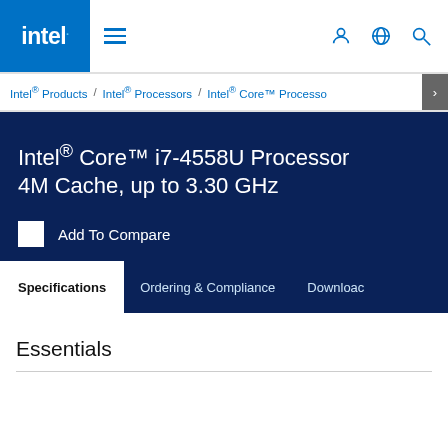intel. ☰ (user icon) (globe icon) (search icon)
Intel® Products / Intel® Processors / Intel® Core™ Processo >
Intel® Core™ i7-4558U Processor 4M Cache, up to 3.30 GHz
Add To Compare
Specifications | Ordering & Compliance | Downloads
Essentials